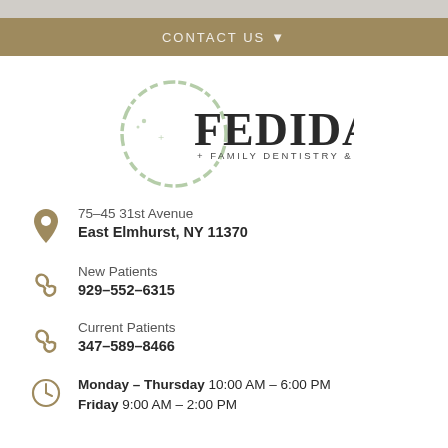CONTACT US ▼
[Figure (logo): Fedida Family Dentistry & Dental Spa logo with circular green brushstroke and serif text]
75-45 31st Avenue
East Elmhurst, NY 11370
New Patients
929-552-6315
Current Patients
347-589-8466
Monday – Thursday 10:00 AM – 6:00 PM
Friday 9:00 AM – 2:00 PM